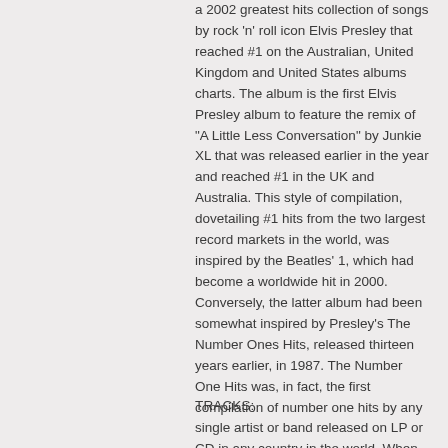a 2002 greatest hits collection of songs by rock 'n' roll icon Elvis Presley that reached #1 on the Australian, United Kingdom and United States albums charts. The album is the first Elvis Presley album to feature the remix of "A Little Less Conversation" by Junkie XL that was released earlier in the year and reached #1 in the UK and Australia. This style of compilation, dovetailing #1 hits from the two largest record markets in the world, was inspired by the Beatles' 1, which had become a worldwide hit in 2000. Conversely, the latter album had been somewhat inspired by Presley's The Number Ones Hits, released thirteen years earlier, in 1987. The Number One Hits was, in fact, the first compilation of number one hits by any single artist or band released on LP or CD in any country in the world. When released, ELV1S: 30 #1 Hits was an instant success, going straight to the top of the albums charts in several countries and shipping mass quantities around the world. By 2003 the album had received certifications in more than 15 regions and had sold millions of copies worldwide. A companion album, 2nd to None, was released the next year.
TRACKS: